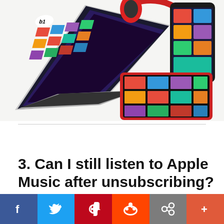[Figure (photo): Overhead view of Apple devices: MacBook laptop showing Beats 1 radio on Apple Music, red Beats headphones, iPhone, and iPad with colorful album art grid, all on a white surface]
3. Can I still listen to Apple Music after unsubscribing?